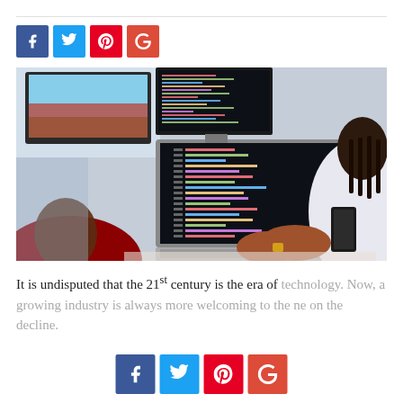[Figure (photo): Two people sitting at a desk with a laptop showing code on screen and additional monitors in the background]
It is undisputed that the 21st century is the era of technology. Now, a growing industry is always more welcoming to the new... on the decline.